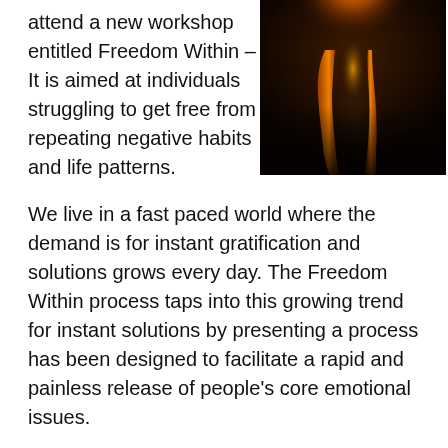attend a new workshop entitled Freedom Within – It is aimed at individuals struggling to get free from repeating negative habits and life patterns.
[Figure (photo): Photo of illuminated human legs from behind, glowing orange-amber against a dark background, artistic wellness/spiritual imagery.]
We live in a fast paced world where the demand is for instant gratification and solutions grows every day. The Freedom Within process taps into this growing trend for instant solutions by presenting a process has been designed to facilitate a rapid and painless release of people's core emotional issues.